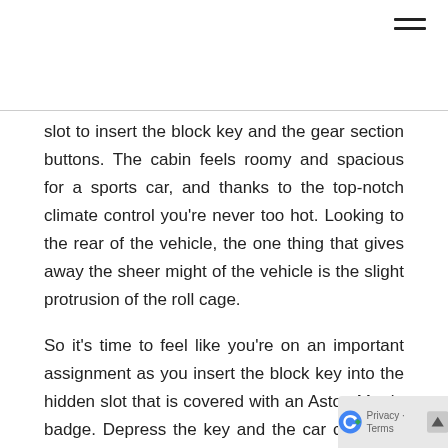slot to insert the block key and the gear section buttons. The cabin feels roomy and spacious for a sports car, and thanks to the top-notch climate control you're never too hot. Looking to the rear of the vehicle, the one thing that gives away the sheer might of the vehicle is the slight protrusion of the roll cage.
So it's time to feel like you're on an important assignment as you insert the block key into the hidden slot that is covered with an Aston Martin badge. Depress the key and the car comes to life; first the lights on the dashboard then the amazing growl from the 4,7-litre V8 engine. This immediately gets the hair on the back of your neck raised. It's insti that your right foot automatically goes in for another before you allow the beast to settle down. The vehicle